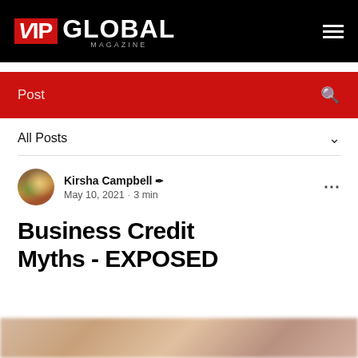VIP GLOBAL MAGAZINE
Post
All Posts
Kirsha Campbell · May 10, 2021 · 3 min
Business Credit Myths - EXPOSED
[Figure (photo): Blurred bottom portion of an article image, partially visible]